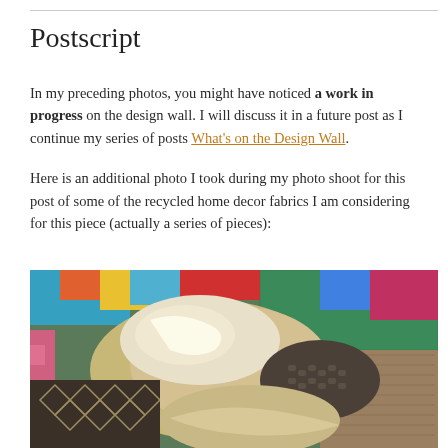Postscript
In my preceding photos, you might have noticed a work in progress on the design wall. I will discuss it in a future post as I continue my series of posts What’s on the Design Wall.
Here is an additional photo I took during my photo shoot for this post of some of the recycled home decor fabrics I am considering for this piece (actually a series of pieces):
[Figure (photo): A pile of recycled home decor fabric samples and swatches in various textures and neutral tones, spread out on a green cutting mat with colorful fabrics visible in the background.]